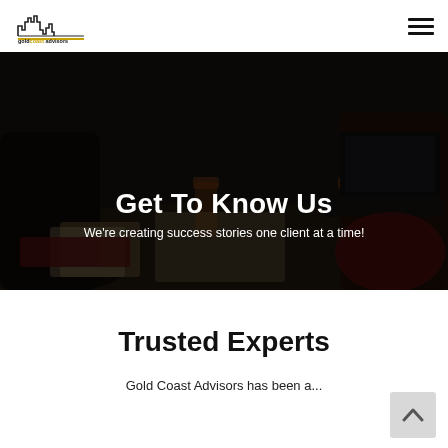[Figure (logo): Gold Coast Advisors logo with city skyline icon and stylized text]
[Figure (photo): Business meeting scene with people around a table with laptops and drinks, dark overlay]
Get To Know Us
We're creating success stories one client at a time!
Trusted Experts
Gold Coast Advisors has been a...